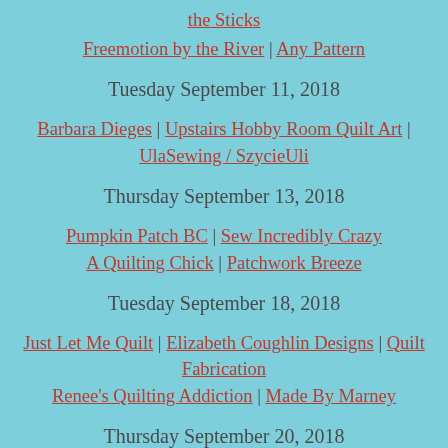the Sticks
Freemotion by the River | Any Pattern
Tuesday September 11, 2018
Barbara Dieges | Upstairs Hobby Room Quilt Art | UlaSewing / SzycieUli
Thursday September 13, 2018
Pumpkin Patch BC | Sew Incredibly Crazy A Quilting Chick | Patchwork Breeze
Tuesday September 18, 2018
Just Let Me Quilt | Elizabeth Coughlin Designs | Quilt Fabrication Renee's Quilting Addiction | Made By Marney
Thursday September 20, 2018